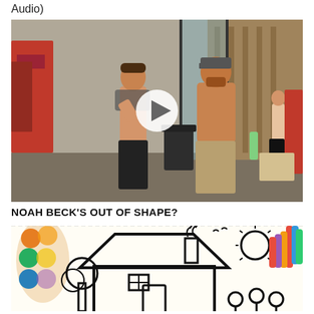Audio)
[Figure (photo): Video thumbnail showing two muscular men in a gym, one lifting his shirt, with a play button overlay in the center.]
NOAH BECK'S OUT OF SHAPE?
[Figure (photo): Thumbnail of a children's coloring page showing a house with a tree, sun, flowers, and a paint palette with markers on the sides.]